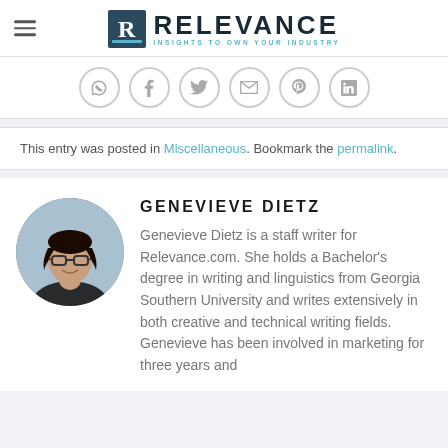RELEVANCE — INSIGHTS TO OWN YOUR INDUSTRY
[Figure (other): Social share icons row: WhatsApp, Facebook, Twitter, Email, Pinterest, LinkedIn]
This entry was posted in Miscellaneous. Bookmark the permalink.
[Figure (photo): Circular portrait photo of Genevieve Dietz]
GENEVIEVE DIETZ
Genevieve Dietz is a staff writer for Relevance.com. She holds a Bachelor's degree in writing and linguistics from Georgia Southern University and writes extensively in both creative and technical writing fields. Genevieve has been involved in marketing for three years and